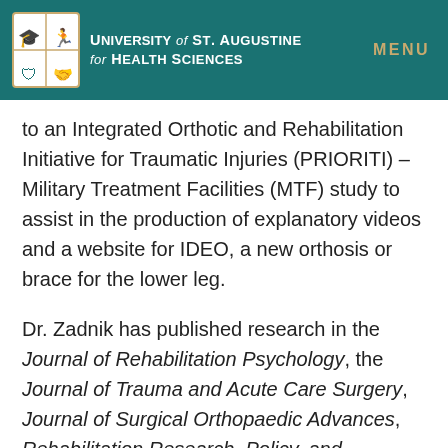University of St. Augustine for Health Sciences | MENU
to an Integrated Orthotic and Rehabilitation Initiative for Traumatic Injuries (PRIORITI) – Military Treatment Facilities (MTF) study to assist in the production of explanatory videos and a website for IDEO, a new orthosis or brace for the lower leg.
Dr. Zadnik has published research in the Journal of Rehabilitation Psychology, the Journal of Trauma and Acute Care Surgery, Journal of Surgical Orthopaedic Advances, Rehabilitation Research, Policy, and Education, American Journal of Occupational Therapy and the Journal